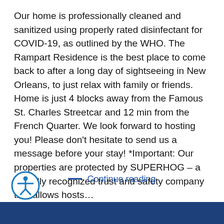Our home is professionally cleaned and sanitized using properly rated disinfectant for COVID-19, as outlined by the WHO. The Rampart Residence is the best place to come back to after a long day of sightseeing in New Orleans, to just relax with family or friends. Home is just 4 blocks away from the Famous St. Charles Streetcar and 12 min from the French Quarter. We look forward to hosting you! Please don't hesitate to send us a message before your stay! *Important: Our properties are protected by SUPERHOG – a globally recognized trust and safety company that allows hosts...
— Continue reading
[Figure (illustration): Accessibility icon: a circular blue outlined icon with a stick figure person with arms outstretched]